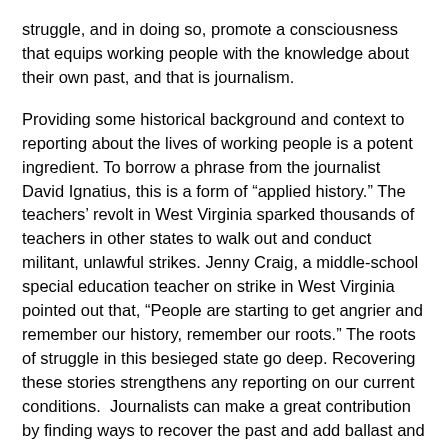struggle, and in doing so, promote a consciousness that equips working people with the knowledge about their own past, and that is journalism.
Providing some historical background and context to reporting about the lives of working people is a potent ingredient. To borrow a phrase from the journalist David Ignatius, this is a form of “applied history.” The teachers’ revolt in West Virginia sparked thousands of teachers in other states to walk out and conduct militant, unlawful strikes. Jenny Craig, a middle-school special education teacher on strike in West Virginia pointed out that, “People are starting to get angrier and remember our history, remember our roots.” The roots of struggle in this besieged state go deep. Recovering these stories strengthens any reporting on our current conditions.  Journalists can make a great contribution by finding ways to recover the past and add ballast and depth to their reporting through the lens of labor history.
Author’s Note: The Debra E. Bernhardt Labor Journalism Prize is an award of $500 given to an article that furthers the understanding of the history of working people. To enter, visit LaborArts.org/Bernhardt